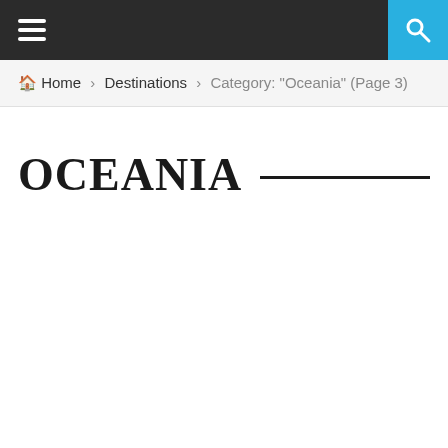≡  🔍
🏠 Home › Destinations › Category: "Oceania" (Page 3)
OCEANIA